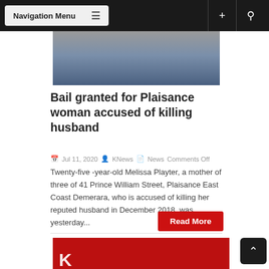Navigation Menu
[Figure (photo): Partial photo showing grey and blue-denim clothing textures]
Bail granted for Plaisance woman accused of killing husband
Jul 11, 2020  KNews  News  Comments Off
Twenty-five -year-old Melissa Playter, a mother of three of 41 Prince William Street, Plaisance East Coast Demerara, who is accused of killing her reputed husband in December 2018, was yesterday...
Read More
[Figure (logo): Partial red background with white K logo letters partially visible]